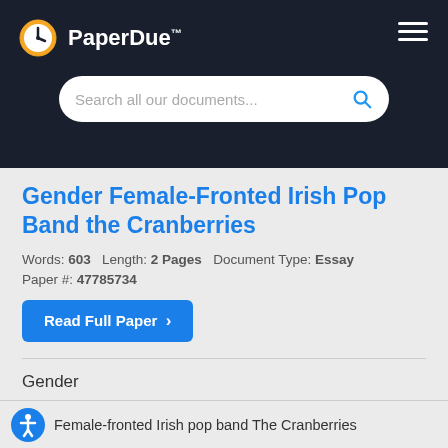PaperDue™
Gender Female-Fronted Irish Pop Band the Cranberries
Words: 603   Length: 2 Pages   Document Type: Essay
Paper #: 47785734
Read Full Paper ›
Gender
Female-fronted Irish pop band The Cranberries